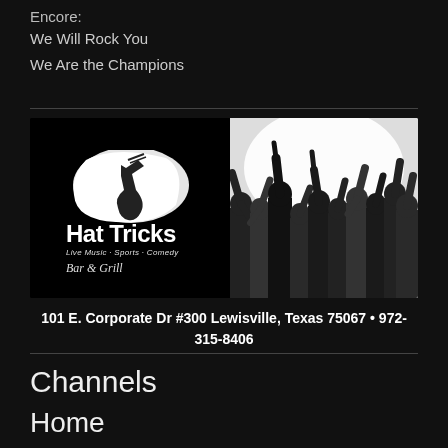Encore:
We Will Rock You
We Are the Champions
[Figure (logo): Hat Tricks Bar & Grill logo with Live Music - Sports - Comedy tagline, alongside a black-and-white crowd photo with raised hands]
101 E. Corporate Dr #300 Lewisville, Texas 75067 • 972-315-8406
Channels
Home